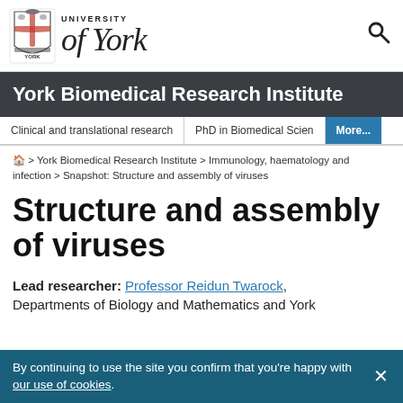[Figure (logo): University of York crest and wordmark logo]
York Biomedical Research Institute
Clinical and translational research | PhD in Biomedical Sciences | More...
Home > York Biomedical Research Institute > Immunology, haematology and infection > Snapshot: Structure and assembly of viruses
Structure and assembly of viruses
Lead researcher: Professor Reidun Twarock, Departments of Biology and Mathematics and York
By continuing to use the site you confirm that you're happy with our use of cookies.